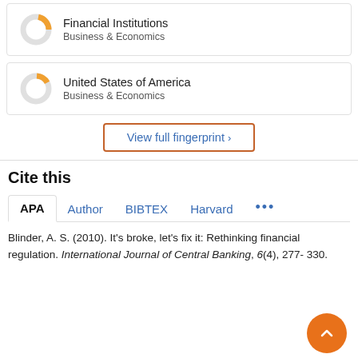[Figure (donut-chart): Donut chart with orange segment for Financial Institutions, Business & Economics]
Financial Institutions
Business & Economics
[Figure (donut-chart): Donut chart with orange segment for United States of America, Business & Economics]
United States of America
Business & Economics
View full fingerprint >
Cite this
APA  Author  BIBTEX  Harvard  ...
Blinder, A. S. (2010). It's broke, let's fix it: Rethinking financial regulation. International Journal of Central Banking, 6(4), 277-330.